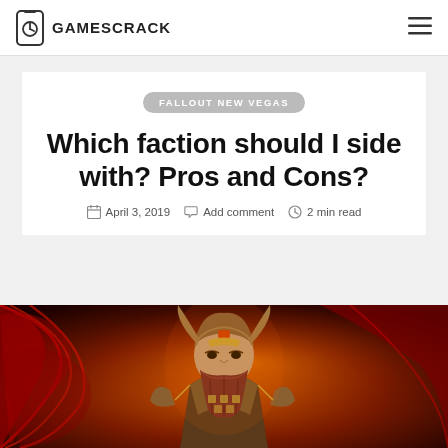GAMESCRACK
FALLOUT NEW VEGAS
Which faction should I side with? Pros and Cons?
April 3, 2019  Add comment  2 min read
[Figure (illustration): Fantasy warrior / barbarian character illustration with horned helmet, red cape, armor, dramatic fire/red background]